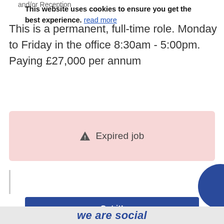and/or Reception
This is a permanent, full-time role. Monday to Friday in the office 8:30am - 5:00pm. Paying £27,000 per annum
[Figure (infographic): Pink rounded box with warning triangle icon and 'Expired job' text]
This website uses cookies to ensure you get the best experience. read more
Got it!
we are social